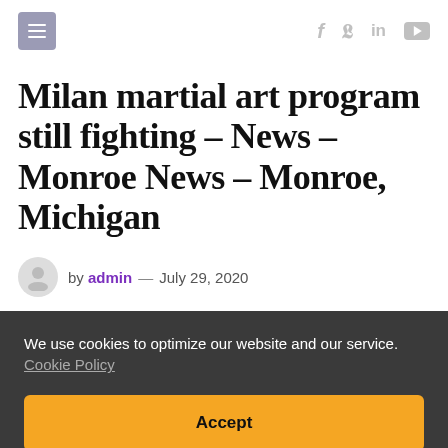Milan martial art program still fighting – News – Monroe News – Monroe, Michigan
Milan martial art program still fighting – News – Monroe News – Monroe, Michigan
by admin — July 29, 2020
We use cookies to optimize our website and our service. Cookie Policy
Accept
pandemic